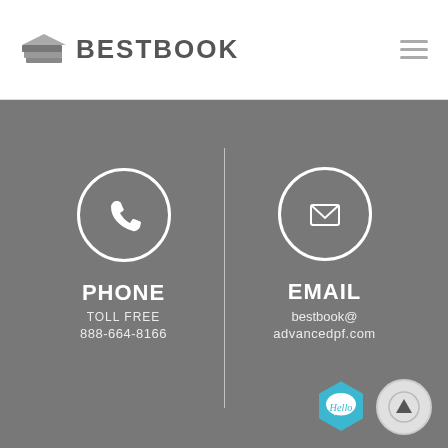[Figure (logo): BestBook logo with stacked books icon and text BESTBOOK]
[Figure (infographic): Contact section with phone and email info on grey background]
PHONE
TOLL FREE
888-664-8166
EMAIL
bestbook@advancedpf.com